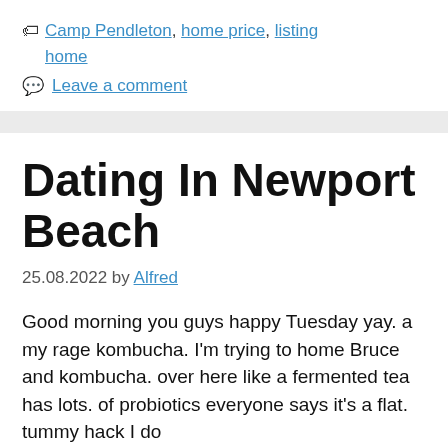🏷 Camp Pendleton, home price, listing home
💬 Leave a comment
Dating In Newport Beach
25.08.2022 by Alfred
Good morning you guys happy Tuesday yay. a my rage kombucha. I'm trying to home Bruce and kombucha. over here like a fermented tea has lots. of probiotics everyone says it's a flat. tummy hack I do